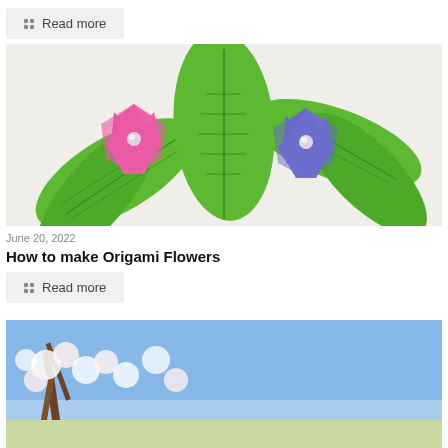Read more
[Figure (photo): Two origami flowers — one pink and one purple — with bright green folded paper leaves on a white background.]
June 20, 2022
How to make Origami Flowers
Read more
[Figure (photo): Partial view of a cherry blossom tree with white flowers against a blue sky.]